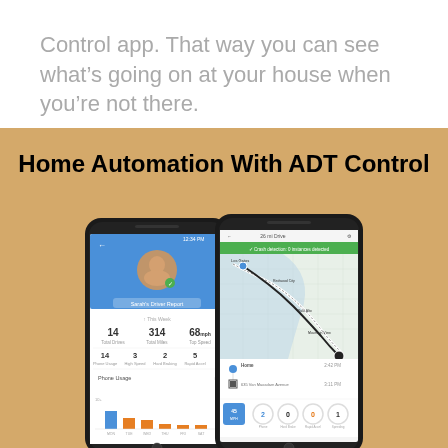Control app. That way you can see what's going on at your house when you're not there.
Home Automation With ADT Control
[Figure (photo): Two smartphones displaying the ADT Control app interface. The left phone shows a driver report screen with statistics (14 Total Drives, 314 Total Miles, 68 mph Top Speed) and a phone usage bar chart. The right phone shows a map view with a route traced and trip details at the bottom.]